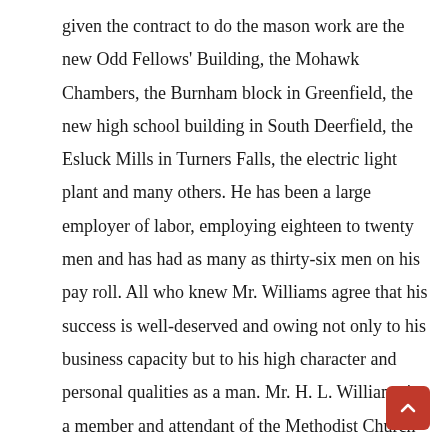given the contract to do the mason work are the new Odd Fellows' Building, the Mohawk Chambers, the Burnham block in Greenfield, the new high school building in South Deerfield, the Esluck Mills in Turners Falls, the electric light plant and many others. He has been a large employer of labor, employing eighteen to twenty men and has had as many as thirty-six men on his pay roll. All who knew Mr. Williams agree that his success is well-deserved and owing not only to his business capacity but to his high character and personal qualities as a man. Mr. H. L. Williams is a member and attendant of the Methodist Church of Greenfield. His fraternal and other associations include membership of the Republican Lodge of the Free and Accepted Masons of Greenfield, and he is a thirty-second degree mason of the